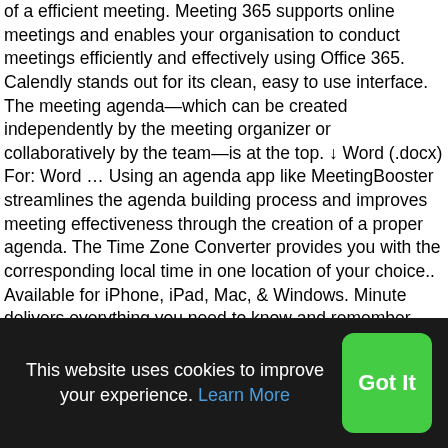of a efficient meeting. Meeting 365 supports online meetings and enables your organisation to conduct meetings efficiently and effectively using Office 365. Calendly stands out for its clean, easy to use interface. The meeting agenda—which can be created independently by the meeting organizer or collaboratively by the team—is at the top. ↓ Word (.docx) For: Word … Using an agenda app like MeetingBooster streamlines the agenda building process and improves meeting effectiveness through the creation of a proper agenda. The Time Zone Converter provides you with the corresponding local time in one location of your choice.. Available for iPhone, iPad, Mac, & Windows. Minute delivers everything you need to know and remember about a meeting on a single page. Allow team members to contribute to agendas, Get notifications for upcoming meetings and agenda items, Take notes, summarize items, check off completed talking points, Add comments to agenda items before the meeting, Get notification of
This website uses cookies to improve your experience. Learn More
Got It